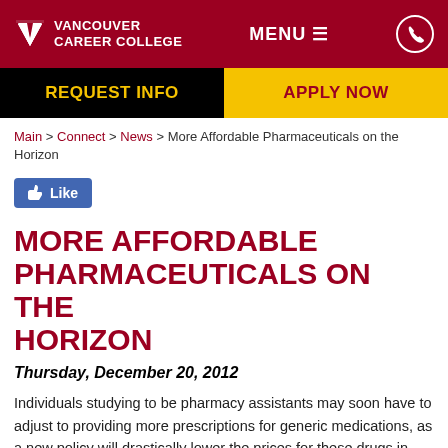[Figure (logo): Vancouver Career College logo with red background, white V icon and text, MENU hamburger, and phone icon]
REQUEST INFO | APPLY NOW
Main > Connect > News > More Affordable Pharmaceuticals on the Horizon
[Figure (other): Facebook Like button]
MORE AFFORDABLE PHARMACEUTICALS ON THE HORIZON
Thursday, December 20, 2012
Individuals studying to be pharmacy assistants may soon have to adjust to providing more prescriptions for generic medications, as a new policy will drastically lower the prices for these drugs in British Columbia, The Province reports. According to IMS Health Canada, 61 per cent of all current prescriptions are for generic drugs as opposed to brand names. However, this chunk of the industry only accounts for